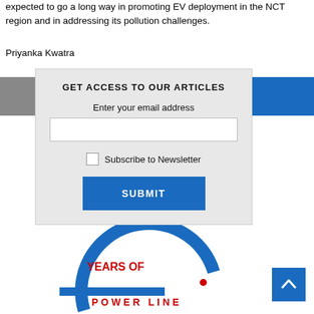expected to go a long way in promoting EV deployment in the NCT region and in addressing its pollution challenges.
Priyanka Kwatra
[Figure (screenshot): A modal dialog box with light gray background reading 'GET ACCESS TO OUR ARTICLES', with a text input labeled 'Enter your email address', a checkbox for 'Subscribe to Newsletter', and a blue SUBMIT button.]
[Figure (logo): Power Line magazine 40 Years of Power Line anniversary logo with blue arc and red text.]
[Figure (other): Blue back-to-top arrow button in bottom right corner.]